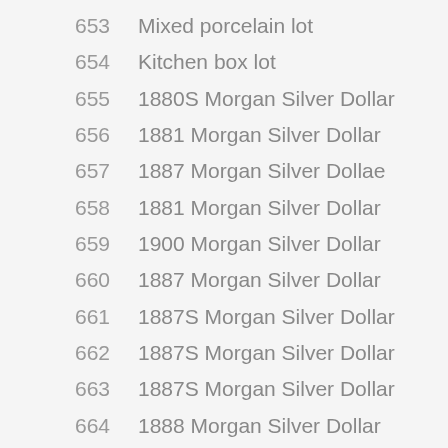653  Mixed porcelain lot
654  Kitchen box lot
655  1880S Morgan Silver Dollar
656  1881 Morgan Silver Dollar
657  1887 Morgan Silver Dollae
658  1881 Morgan Silver Dollar
659  1900 Morgan Silver Dollar
660  1887 Morgan Silver Dollar
661  1887S Morgan Silver Dollar
662  1887S Morgan Silver Dollar
663  1887S Morgan Silver Dollar
664  1888 Morgan Silver Dollar
665  1900 Morgan Silver Dollar
666  1886 Morgan Silver Dollar
667  1886 Morgan Silver Dollar
668  1887 Morgan Silver Dollar
669  (partial)